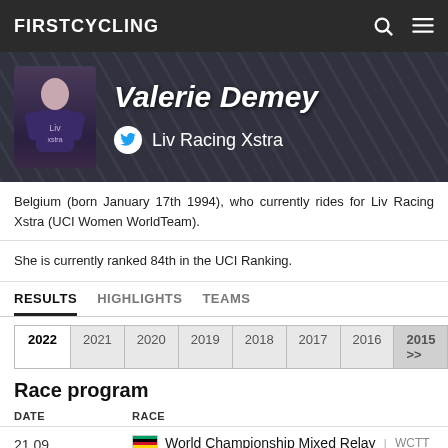FIRSTCYCLING
[Figure (photo): Valerie Demey rider profile banner with photo, name, and team Liv Racing Xstra]
Belgium (born January 17th 1994), who currently rides for Liv Racing Xstra (UCI Women WorldTeam).
She is currently ranked 84th in the UCI Ranking.
RESULTS  HIGHLIGHTS  TEAMS
2022  2021  2020  2019  2018  2017  2016  2015 >>
Race program
| DATE | RACE |
| --- | --- |
| 21.09 | World Championship Mixed Relay | WCTT |
| 24.09 | World Championship RR | WCRR |